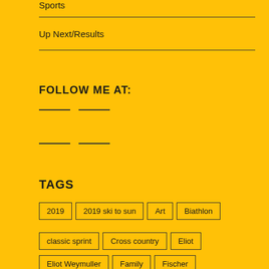Sports
Up Next/Results
FOLLOW ME AT:
TAGS
2019
2019 ski to sun
Art
Biathlon
classic sprint
Cross country
Eliot
Eliot Weymuller
Family
Fischer